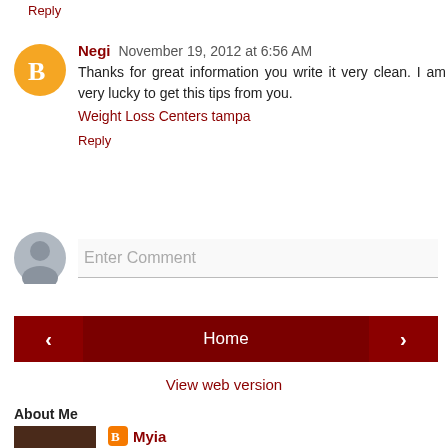Reply
Negi  November 19, 2012 at 6:56 AM
Thanks for great information you write it very clean. I am very lucky to get this tips from you.
Weight Loss Centers tampa
Reply
Enter Comment
Home
View web version
About Me
Myia
Washington, DC, United States